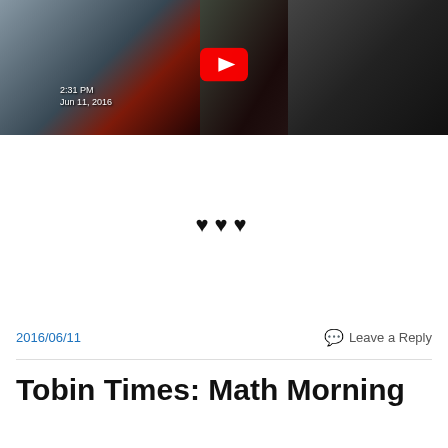[Figure (screenshot): YouTube video thumbnail showing a child doing math work at a desk. Timestamp overlay reads '2:31 PM Jun 11, 2016'. YouTube play button visible in center.]
♥♥♥
2016/06/11
Leave a Reply
Tobin Times: Math Morning